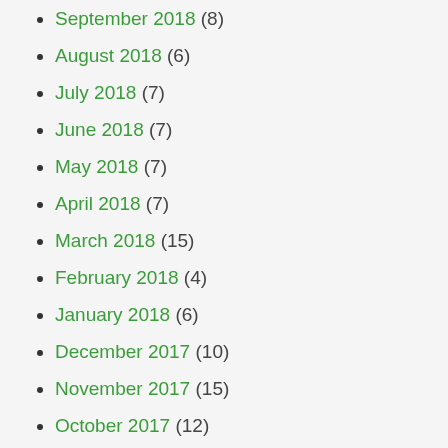September 2018 (8)
August 2018 (6)
July 2018 (7)
June 2018 (7)
May 2018 (7)
April 2018 (7)
March 2018 (15)
February 2018 (4)
January 2018 (6)
December 2017 (10)
November 2017 (15)
October 2017 (12)
September 2017 (4)
August 2017 (4)
July 2017 (10)
June 2017 (2)